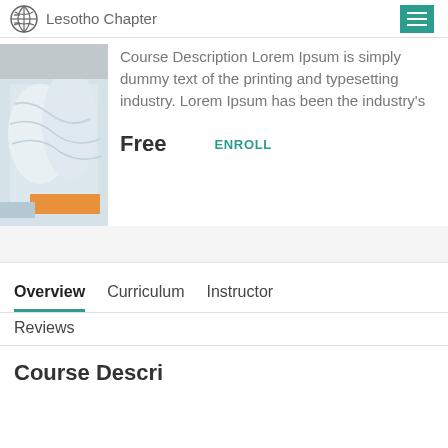Lesotho Chapter
Course Description Lorem Ipsum is simply dummy text of the printing and typesetting industry. Lorem Ipsum has been the industry's
Free
ENROLL
Overview   Curriculum   Instructor
Reviews
Course Descri...